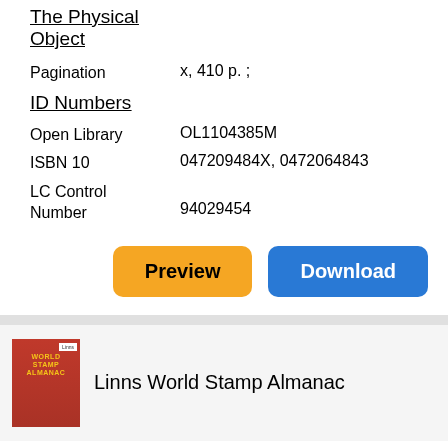The Physical Object
Pagination    x, 410 p. ;
ID Numbers
Open Library    OL1104385M
ISBN 10    047209484X, 0472064843
LC Control Number    94029454
[Figure (screenshot): Preview and Download buttons]
[Figure (photo): Red book cover for Linns World Stamp Almanac]
Linns World Stamp Almanac